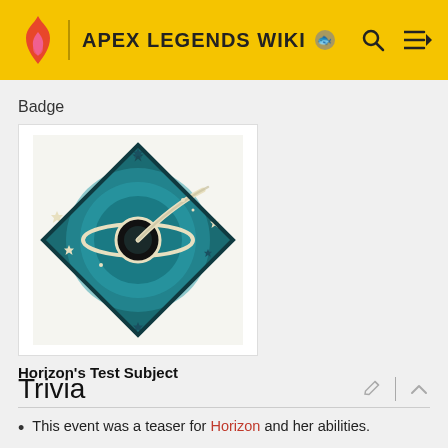APEX LEGENDS WIKI
Badge
[Figure (illustration): Horizon's Test Subject badge — a teal diamond-shaped emblem with a stylized black hole/planet ring graphic in cream and teal, surrounded by stars, on a light background.]
Horizon's Test Subject
Trivia
This event was a teaser for Horizon and her abilities.